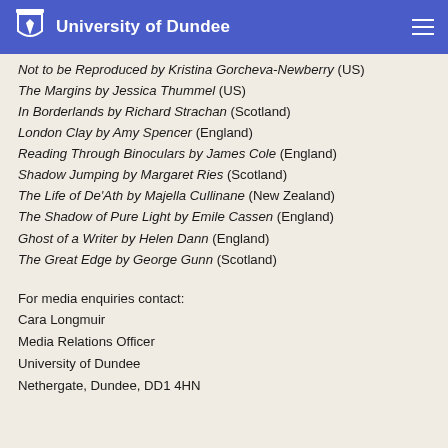University of Dundee
Not to be Reproduced by Kristina Gorcheva-Newberry (US)
The Margins by Jessica Thummel (US)
In Borderlands by Richard Strachan (Scotland)
London Clay by Amy Spencer (England)
Reading Through Binoculars by James Cole (England)
Shadow Jumping by Margaret Ries (Scotland)
The Life of De'Ath by Majella Cullinane (New Zealand)
The Shadow of Pure Light by Emile Cassen (England)
Ghost of a Writer by Helen Dann (England)
The Great Edge by George Gunn (Scotland)
For media enquiries contact:
Cara Longmuir
Media Relations Officer
University of Dundee
Nethergate, Dundee, DD1 4HN